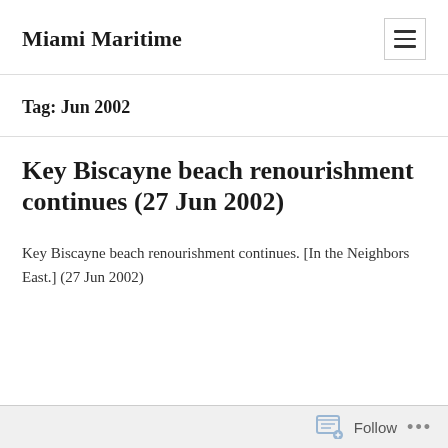Miami Maritime
Tag: Jun 2002
Key Biscayne beach renourishment continues (27 Jun 2002)
Key Biscayne beach renourishment continues. [In the Neighbors East.] (27 Jun 2002)
Follow